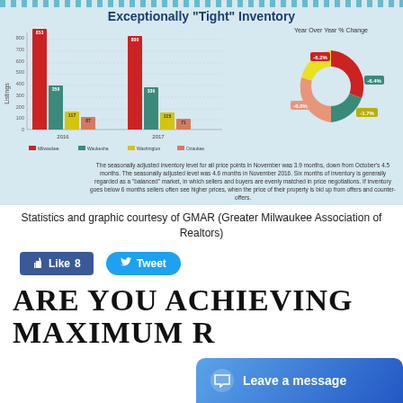[Figure (infographic): Infographic titled 'Exceptionally Tight Inventory' showing a grouped bar chart with Milwaukee, Waukesha, Washington, Ozaukee county listings for 2016 and 2017, and a donut chart showing Year Over Year % Change with values -6.2%, -6.4%, -1.7%, -6.0%. Bar chart values: Milwaukee 853/800, Waukesha 359/336, Washington 117/115, Ozaukee 87/71. Text annotation about seasonally adjusted inventory level of 3.9 months in November.]
Statistics and graphic courtesy of GMAR (Greater Milwaukee Association of Realtors)
[Figure (other): Like button showing 'Like 8' in Facebook style and Tweet button in Twitter style]
ARE YOU ACHIEVING MAXIMUM R...